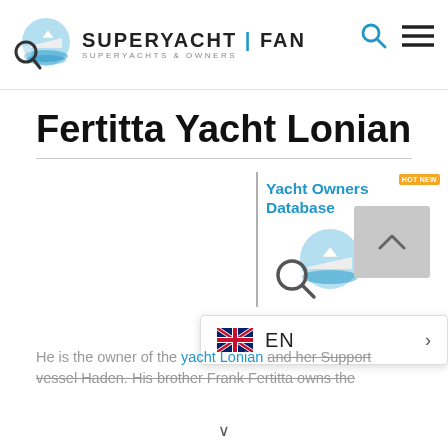SUPERYACHT | FAN — SUPERYACHTS & OWNERS
Fertitta Yacht Lonian
[Figure (logo): Yacht Owners Database panel with mini superyacht logo and HOT NEW badge]
He is the owner of the yacht Lonian and her Support vessel Haden. His brother Frank Fertitta owns the